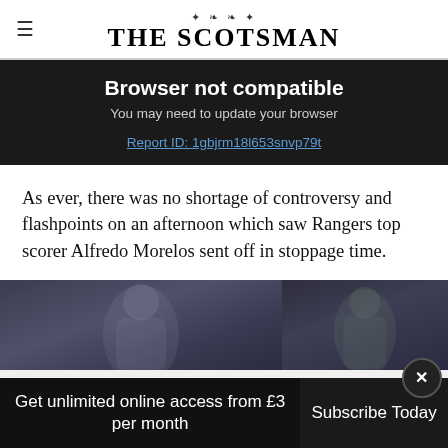THE SCOTSMAN
Browser not compatible
You may need to update your browser
Report ID: 1gbjrm18l653snvp79t
As ever, there was no shortage of controversy and flashpoints on an afternoon which saw Rangers top scorer Alfredo Morelos sent off in stoppage time.
[Figure (photo): Sports photo showing football players, split into two panels]
Get unlimited online access from £3 per month
Subscribe Today